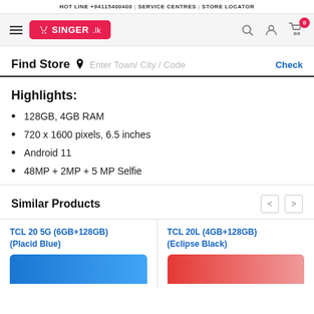HOT LINE +94115400400 | SERVICE CENTRES | STORE LOCATOR
[Figure (logo): Singer.lk logo with shopping cart icon on red background, hamburger menu, search icon, user icon, and cart with badge showing 0]
Find Store  Enter Town/City/Code  Check
Highlights:
128GB, 4GB RAM
720 x 1600 pixels, 6.5 inches
Android 11
48MP + 2MP + 5 MP Selfie
Similar Products
TCL 20 5G (6GB+128GB) (Placid Blue)
TCL 20L (4GB+128GB) (Eclipse Black)